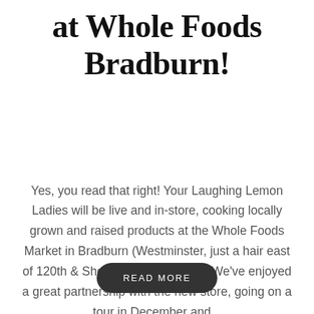at Whole Foods Bradburn!
Yes, you read that right! Your Laughing Lemon Ladies will be live and in-store, cooking locally grown and raised products at the Whole Foods Market in Bradburn (Westminster, just a hair east of 120th & Sheridan) this summer. We've enjoyed a great partnership with the new store, going on a tour in December and...
READ MORE